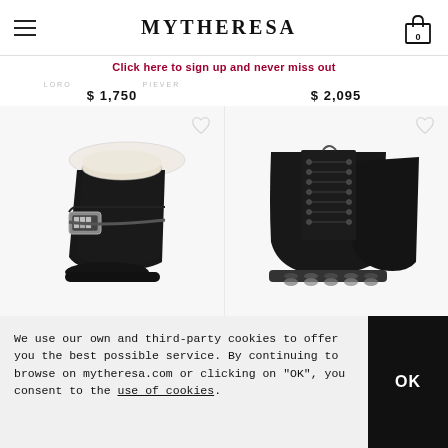MYTHERESA
Click here to sign up and never miss out
$ 1,750
$ 2,095
[Figure (photo): Black leather ankle boot with white shearling trim and crystal buckle]
[Figure (photo): Black lace-up combat boots with translucent chunky sole]
We use our own and third-party cookies to offer you the best possible service. By continuing to browse on mytheresa.com or clicking on "OK", you consent to the use of cookies.